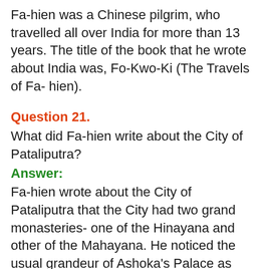Fa-hien was a Chinese pilgrim, who travelled all over India for more than 13 years. The title of the book that he wrote about India was, Fo-Kwo-Ki (The Travels of Fa- hien).
Question 21.
What did Fa-hien write about the City of Pataliputra?
Answer:
Fa-hien wrote about the City of Pataliputra that the City had two grand monasteries- one of the Hinayana and other of the Mahayana. He noticed the usual grandeur of Ashoka's Palace as such. People living there, were quite prosper by all means. There was an excellent hospital run by the